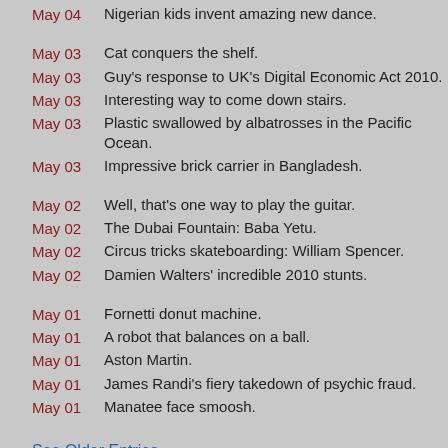May 04  Nigerian kids invent amazing new dance.
May 03  Cat conquers the shelf.
May 03  Guy's response to UK's Digital Economic Act 2010.
May 03  Interesting way to come down stairs.
May 03  Plastic swallowed by albatrosses in the Pacific Ocean.
May 03  Impressive brick carrier in Bangladesh.
May 02  Well, that's one way to play the guitar.
May 02  The Dubai Fountain: Baba Yetu.
May 02  Circus tricks skateboarding: William Spencer.
May 02  Damien Walters' incredible 2010 stunts.
May 01  Fornetti donut machine.
May 01  A robot that balances on a ball.
May 01  Aston Martin.
May 01  James Randi's fiery takedown of psychic fraud.
May 01  Manatee face smoosh.
See Older Entries